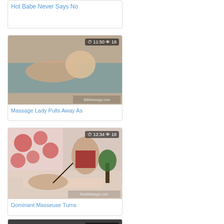Hot Babe Never Says No
[Figure (photo): Video thumbnail card showing: Hot Babe Never Says No]
[Figure (photo): Video thumbnail with badge 11:50 and 18, title: Massage Lady Pulls Away As]
[Figure (photo): Video thumbnail with badge 12:34 and 18, title: Dominant Masseuse Turns]
[Figure (photo): Video thumbnail with badge 08:17 and 30, partially visible at bottom]